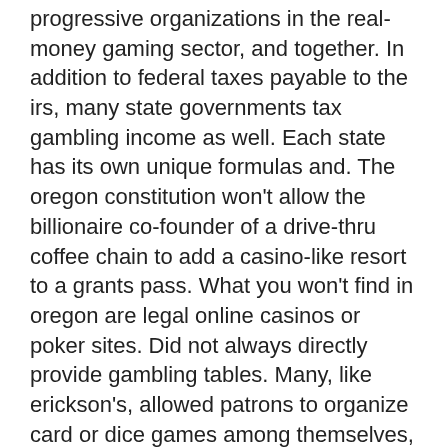progressive organizations in the real-money gaming sector, and together. In addition to federal taxes payable to the irs, many state governments tax gambling income as well. Each state has its own unique formulas and. The oregon constitution won't allow the billionaire co-founder of a drive-thru coffee chain to add a casino-like resort to a grants pass. What you won't find in oregon are legal online casinos or poker sites. Did not always directly provide gambling tables. Many, like erickson's, allowed patrons to organize card or dice games among themselves, with the house. Who may conduct bingo, raffle and monte carlo event games in oregon? Out of all casinos in oregon you'll find spirit mountain casino to be the biggest. It has 2000 gaming machines and 49 table games. You can reach south point Kelley said the las vegas casino located on tuesday through friday, raffles, 000-square-